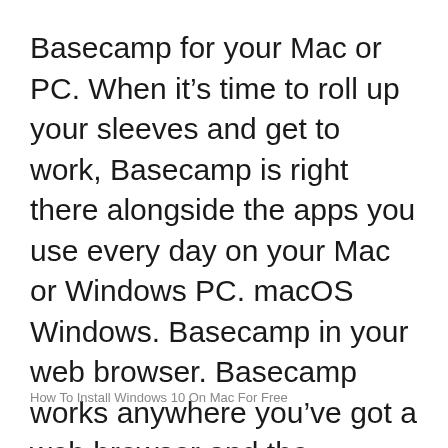Basecamp for your Mac or PC. When it's time to roll up your sleeves and get to work, Basecamp is right there alongside the apps you use every day on your Mac or Windows PC. macOS Windows. Basecamp in your web browser. Basecamp works anywhere you've got a web browser and the internet. Laptop, phone, tablet, hotel lounge, school computer lab
How To Install Windows 10 On Mac For Free